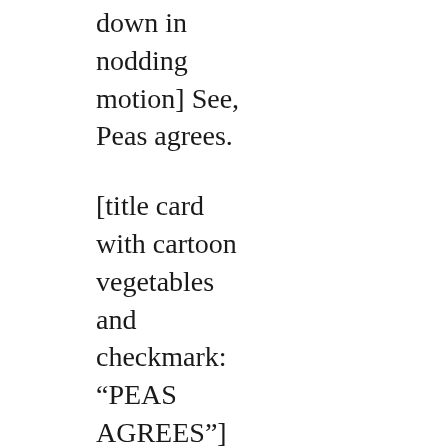down in nodding motion] See, Peas agrees.
[title card with cartoon vegetables and checkmark: “PEAS AGREES”]
JULIA: And yes, drunk